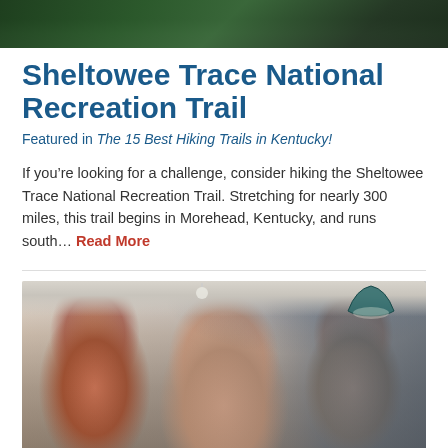[Figure (photo): Top portion of outdoor/nature scene, likely a trail or forest, dark green tones, partially visible at top of page]
Sheltowee Trace National Recreation Trail
Featured in The 15 Best Hiking Trails in Kentucky!
If you’re looking for a challenge, consider hiking the Sheltowee Trace National Recreation Trail. Stretching for nearly 300 miles, this trail begins in Morehead, Kentucky, and runs south… Read More
[Figure (photo): Indoor photo of a man in a red plaid shirt smiling, a woman holding a young child, and another person (partially visible on right), in what appears to be a home interior with blue-gray cabinets and a pendant lamp]